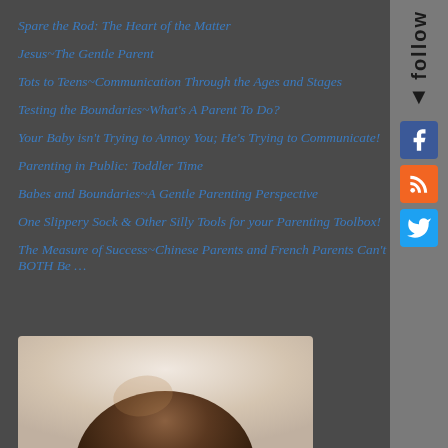Spare the Rod: The Heart of the Matter
Jesus~The Gentle Parent
Tots to Teens~Communication Through the Ages and Stages
Testing the Boundaries~What's A Parent To Do?
Your Baby isn't Trying to Annoy You; He's Trying to Communicate!
Parenting in Public: Toddler Time
Babes and Boundaries~A Gentle Parenting Perspective
One Slippery Sock & Other Silly Tools for your Parenting Toolbox!
The Measure of Success~Chinese Parents and French Parents Can't BOTH Be …
[Figure (photo): Top of a child's head with brown hair, photo cropped showing hair and forehead area against light background]